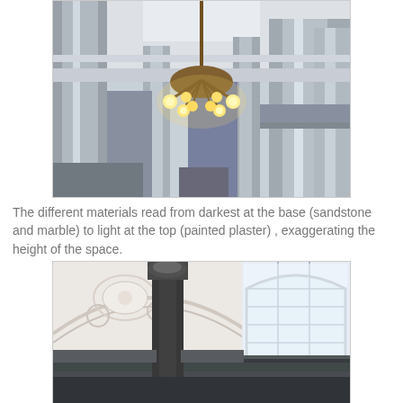[Figure (photo): Interior of a classical building showing ornate columns, decorative architecture, and a lit chandelier hanging in the foreground. The columns and walls are light-coloured painted plaster with darker sandstone/marble at the base.]
The different materials read from darkest at the base (sandstone and marble) to light at the top (painted plaster) , exaggerating the height of the space.
[Figure (photo): Interior architectural photo showing a grand domed or arched ceiling with ornate plasterwork, a large arched window letting in bright light, and a decorative lamp post or column in the foreground. The dark architectural details contrast with the bright white ceiling and window.]